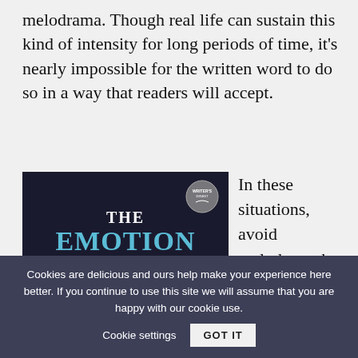melodrama. Though real life can sustain this kind of intensity for long periods of time, it's nearly impossible for the written word to do so in a way that readers will accept.
[Figure (illustration): Book cover for 'The Emotion Thesaurus: A Writer's Guide to Character Expression' on a dark navy background with blue title text and a Writer's Digest badge in the top right corner.]
In these situations, avoid melodrama by abbreviating.
Cookies are delicious and ours help make your experience here better. If you continue to use this site we will assume that you are happy with our cookie use.
Cookie settings
GOT IT